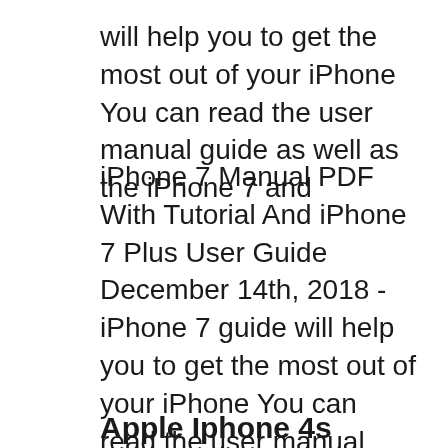will help you to get the most out of your iPhone You can read the user manual guide as well as the iPhone 7 and
iPhone 7 Manual PDF With Tutorial And iPhone 7 Plus User Guide December 14th, 2018 - iPhone 7 guide will help you to get the most out of your iPhone You can read the user manual guide as well as the iPhone 7 and iPhone 7 Manual PDF With Tutorial And iPhone 7 Plus User Guide December 14th, 2018 - iPhone 7 guide will help you to get the most out of your iPhone You can read the user manual guide as well as the iPhone 7 and
Apple Iphone 4s Manual